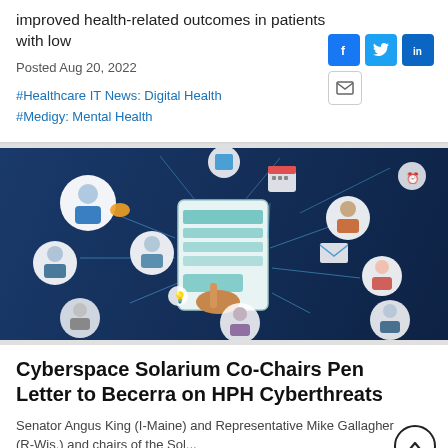improved health-related outcomes in patients with low
Posted Aug 20, 2022
#Healthcare IT News: Digital Health
#Medigy: Mental Health
[Figure (illustration): Illustration of a person's hand interacting with a tablet device, surrounded by connected circular avatars representing people and digital health network icons on a dark blue background.]
Cyberspace Solarium Co-Chairs Pen Letter to Becerra on HPH Cyberthreats
Senator Angus King (I-Maine) and Representative Mike Gallagher (R-Wis.) and chairs of the Sol...